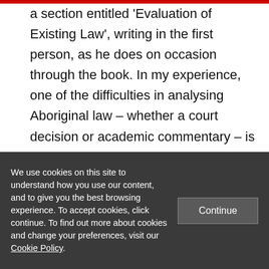a section entitled 'Evaluation of Existing Law', writing in the first person, as he does on occasion through the book. In my experience, one of the difficulties in analysing Aboriginal law – whether a court decision or academic commentary – is perceiving the writer's perspective, and I appreciated knowing when Reynolds was attempting to objectively explain the law and when he was commenting on it. His
We use cookies on this site to understand how you use our content, and to give you the best browsing experience. To accept cookies, click continue. To find out more about cookies and change your preferences, visit our Cookie Policy.